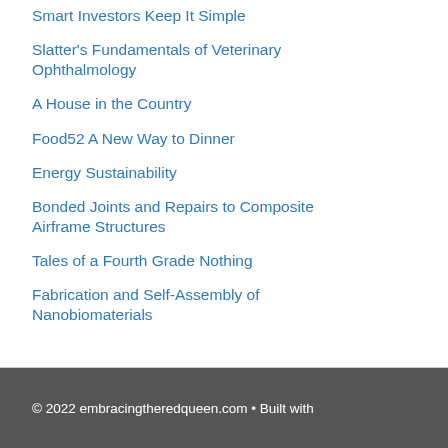Smart Investors Keep It Simple
Slatter’s Fundamentals of Veterinary Ophthalmology
A House in the Country
Food52 A New Way to Dinner
Energy Sustainability
Bonded Joints and Repairs to Composite Airframe Structures
Tales of a Fourth Grade Nothing
Fabrication and Self-Assembly of Nanobiomaterials
© 2022 embracingtheredqueen.com • Built with